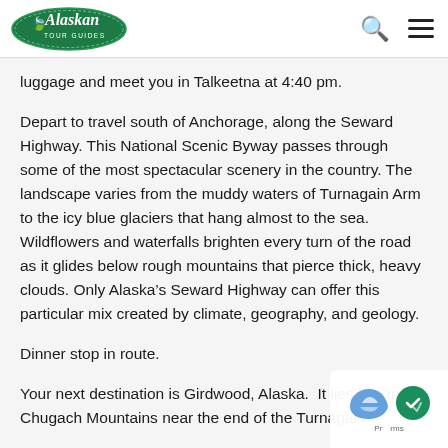Alaskan Tour Guides
luggage and meet you in Talkeetna at 4:40 pm.
Depart to travel south of Anchorage, along the Seward Highway. This National Scenic Byway passes through some of the most spectacular scenery in the country. The landscape varies from the muddy waters of Turnagain Arm to the icy blue glaciers that hang almost to the sea. Wildflowers and waterfalls brighten every turn of the road as it glides below rough mountains that pierce thick, heavy clouds. Only Alaska’s Seward Highway can offer this particular mix created by climate, geography, and geology.
Dinner stop in route.
Your next destination is Girdwood, Alaska. It lies in a in the Chugach Mountains near the end of the Turnagain